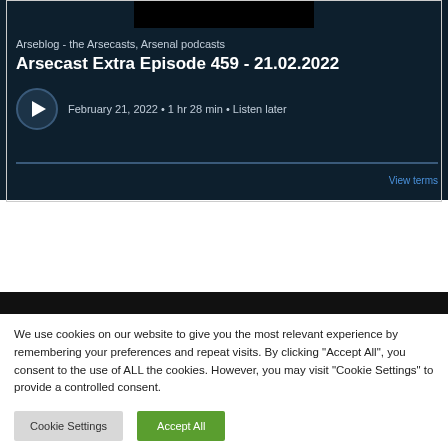[Figure (screenshot): Podcast player card showing Arseblog - the Arsecasts, Arsenal podcasts. Episode: Arsecast Extra Episode 459 - 21.02.2022. Date: February 21, 2022 · 1 hr 28 min · Listen later. Dark navy background with play button.]
We use cookies on our website to give you the most relevant experience by remembering your preferences and repeat visits. By clicking "Accept All", you consent to the use of ALL the cookies. However, you may visit "Cookie Settings" to provide a controlled consent.
Cookie Settings
Accept All